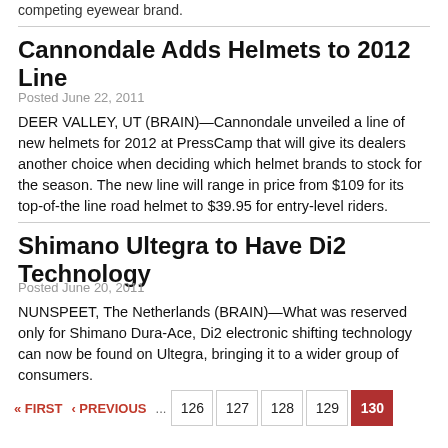competing eyewear brand.
Cannondale Adds Helmets to 2012 Line
Posted June 22, 2011
DEER VALLEY, UT (BRAIN)—Cannondale unveiled a line of new helmets for 2012 at PressCamp that will give its dealers another choice when deciding which helmet brands to stock for the season. The new line will range in price from $109 for its top-of-the line road helmet to $39.95 for entry-level riders.
Shimano Ultegra to Have Di2 Technology
Posted June 20, 2011
NUNSPEET, The Netherlands (BRAIN)—What was reserved only for Shimano Dura-Ace, Di2 electronic shifting technology can now be found on Ultegra, bringing it to a wider group of consumers.
« FIRST  ‹ PREVIOUS  ...  126  127  128  129  130